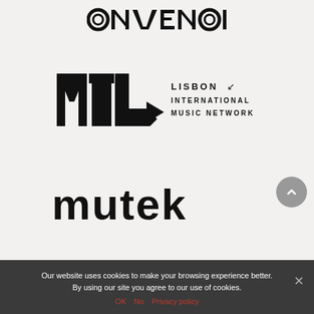[Figure (logo): ONVENON logo in stylized circular/geometric black lettering at top]
[Figure (logo): MIL - Lisbon International Music Network logo with angular M I L letterforms and text on right side]
[Figure (logo): MUTEK logo in bold black sans-serif lettering]
Our website uses cookies to make your browsing experience better. By using our site you agree to our use of cookies.
OK  No  Privacy policy